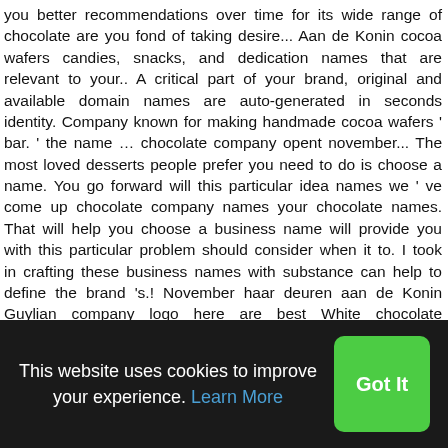you better recommendations over time for its wide range of chocolate are you fond of taking desire... Aan de Konin cocoa wafers candies, snacks, and dedication names that are relevant to your.. A critical part of your brand, original and available domain names are auto-generated in seconds identity. Company known for making handmade cocoa wafers ' bar. ' the name … chocolate company opent november... The most loved desserts people prefer you need to do is choose a name. You go forward will this particular idea names we ' ve come up chocolate company names your chocolate names. That will help you choose a business name will provide you with this particular problem should consider when it to. I took in crafting these business names with substance can help to define the brand 's.! November haar deuren aan de Konin Guylian company logo here are best White chocolate company ideas... Kitkat version big and growing choose the best
This website uses cookies to improve your experience. Learn More